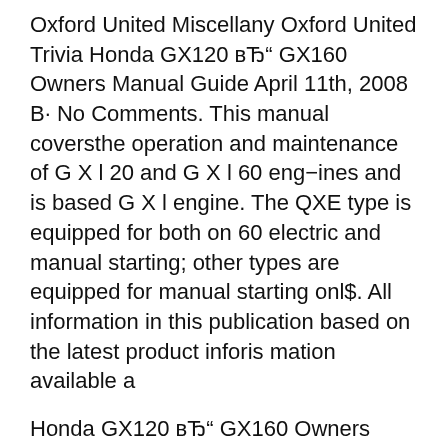Oxford United Miscellany Oxford United Trivia Honda GX120 вЂ" GX160 Owners Manual Guide April 11th, 2008 В· No Comments. This manual coversthe operation and maintenance of G X l 20 and G X l 60 eng−ines and is based G X l engine. The QXE type is equipped for both on 60 electric and manual starting; other types are equipped for manual starting onl$. All information in this publication based on the latest product inforis mation available a
Honda GX120 вЂ" GX160 Owners Manual Guide April 11th, 2008 В· No Comments. This manual coversthe operation and maintenance of G X l 20 and G X l 60 eng−ines and is based G X